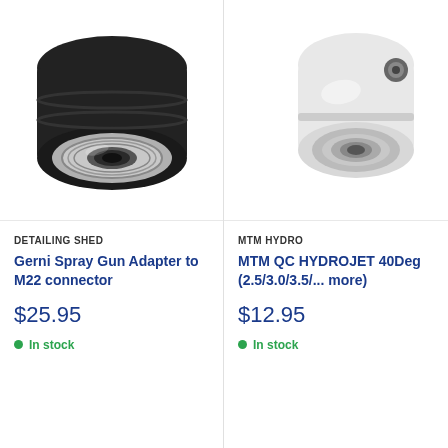[Figure (photo): Black pressure washer spray gun adapter with silver threaded M22 connector end, viewed from front]
DETAILING SHED
Gerni Spray Gun Adapter to M22 connector
$25.95
In stock
[Figure (photo): White MTM QC HydroJet pressure washer nozzle, viewed from front at angle]
MTM HYDRO
MTM QC HYDROJET 40Deg (2.5/3.0/3.5/... more)
$12.95
In stock